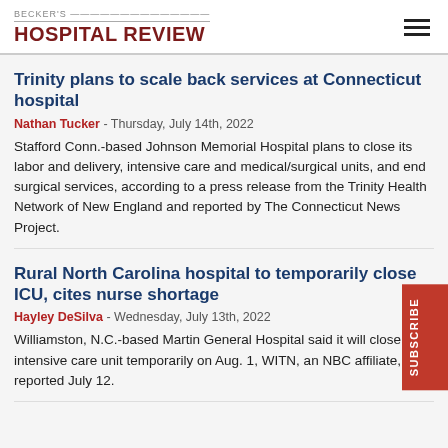BECKER'S HOSPITAL REVIEW
Trinity plans to scale back services at Connecticut hospital
Nathan Tucker - Thursday, July 14th, 2022
Stafford Conn.-based Johnson Memorial Hospital plans to close its labor and delivery, intensive care and medical/surgical units, and end surgical services, according to a press release from the Trinity Health Network of New England and reported by The Connecticut News Project.
Rural North Carolina hospital to temporarily close ICU, cites nurse shortage
Hayley DeSilva - Wednesday, July 13th, 2022
Williamston, N.C.-based Martin General Hospital said it will close its intensive care unit temporarily on Aug. 1, WITN, an NBC affiliate, reported July 12.